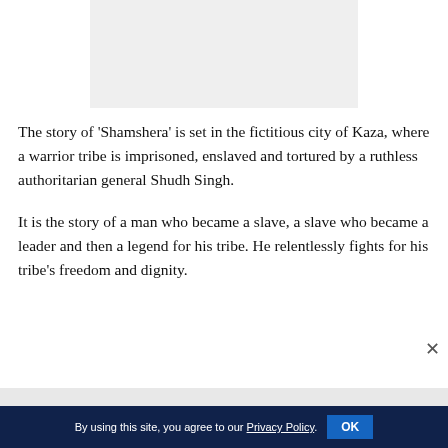[Figure (other): Grey placeholder advertisement banner at top center of page]
The story of 'Shamshera' is set in the fictitious city of Kaza, where a warrior tribe is imprisoned, enslaved and tortured by a ruthless authoritarian general Shudh Singh.
It is the story of a man who became a slave, a slave who became a leader and then a legend for his tribe. He relentlessly fights for his tribe's freedom and dignity.
By using this site, you agree to our Privacy Policy. OK